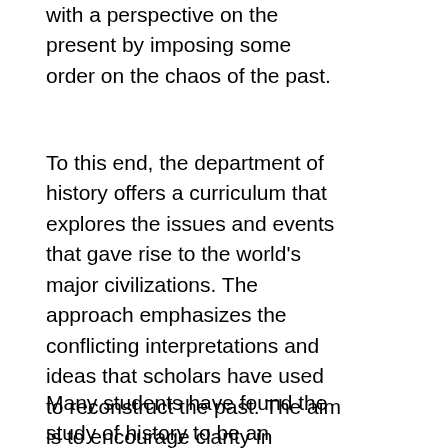with a perspective on the present by imposing some order on the chaos of the past.
To this end, the department of history offers a curriculum that explores the issues and events that gave rise to the world's major civilizations. The approach emphasizes the conflicting interpretations and ideas that scholars have used to reconstruct the past. The aim is to encourage clarity in expression, precision in writing, and a critical, thoughtful analysis of ideas.
Many students have found the study of history to be an